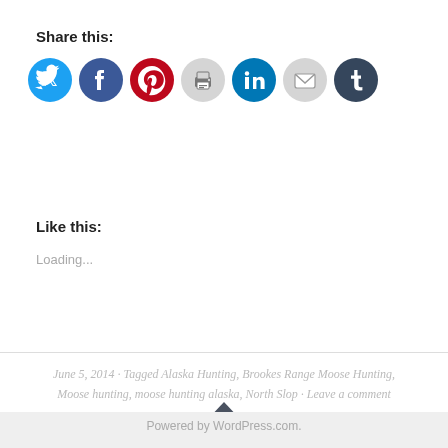Share this:
[Figure (infographic): Row of social media sharing icon circles: Twitter (light blue), Facebook (blue), Pinterest (red), Print (light gray), LinkedIn (teal/blue), Email (light gray), Tumblr (dark navy)]
Like this:
Loading...
June 5, 2014 · Tagged Alaska Hunting, Brookes Range Moose Hunting, Moose hunting, moose hunting alaska, North Slop · Leave a comment
[Figure (infographic): Dark gray triangle/arrow button pointing up with a plus sign in the center]
Powered by WordPress.com.